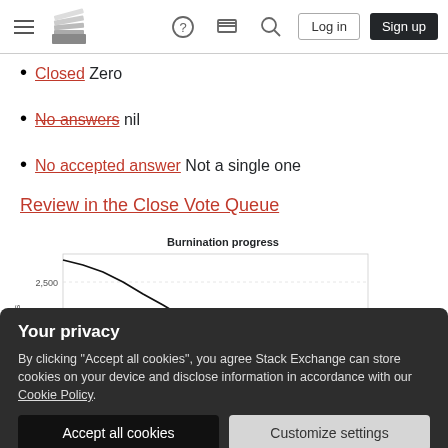Stack Exchange navigation bar with hamburger menu, logo, help, chat, search icons, Log in and Sign up buttons
Closed Zero
No answers nil
No accepted answer Not a single one
Review in the Close Vote Queue
[Figure (line-chart): Line chart showing burnination progress over time with three lines: a black descending line starting around 2800 dropping to ~1450, an orange/yellow flat line around 1500, and a green line spiking upward near the end. Legend shows Closed (orange) and Retagged (green).]
Your privacy
By clicking "Accept all cookies", you agree Stack Exchange can store cookies on your device and disclose information in accordance with our Cookie Policy.
Accept all cookies   Customize settings
Remember that we don't want to destroy value so